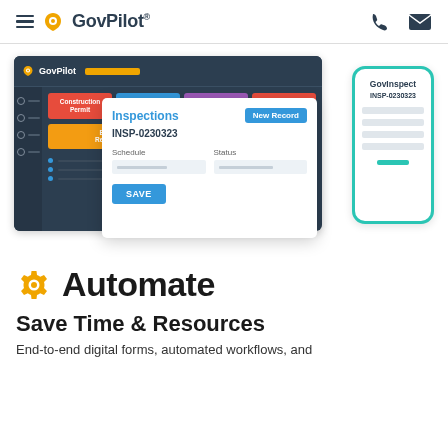GovPilot® (navigation header with phone and email icons)
[Figure (screenshot): GovPilot dashboard mockup showing menu buttons (Construction Permit, Open Public Records, Report a-Concern, Zoning Permit, Business Registration, Today's Inspections), an Inspections modal with INSP-0230323, Schedule and Status fields, and a SAVE button. Also shows GovInspect phone mockup with INSP-0230323.]
Automate
Save Time & Resources
End-to-end digital forms, automated workflows, and